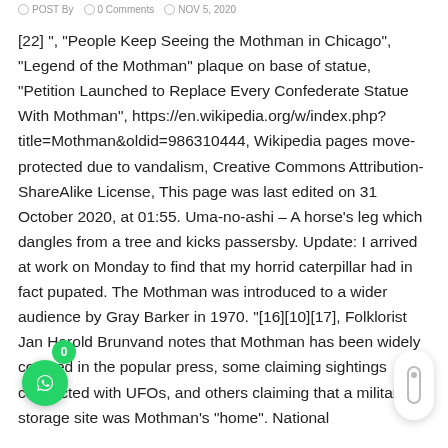Post By  0 Comments  NOV 5, 2020
[22] ", "People Keep Seeing the Mothman in Chicago", "Legend of the Mothman" plaque on base of statue, "Petition Launched to Replace Every Confederate Statue With Mothman", https://en.wikipedia.org/w/index.php?title=Mothman&oldid=986310444, Wikipedia pages move-protected due to vandalism, Creative Commons Attribution-ShareAlike License, This page was last edited on 31 October 2020, at 01:55. Uma-no-ashi – A horse's leg which dangles from a tree and kicks passersby. Update: I arrived at work on Monday to find that my horrid caterpillar had in fact pupated. The Mothman was introduced to a wider audience by Gray Barker in 1970. "[16][10][17], Folklorist Jan Harold Brunvand notes that Mothman has been widely covered in the popular press, some claiming sightings connected with UFOs, and others claiming that a military storage site was Mothman's "home". National